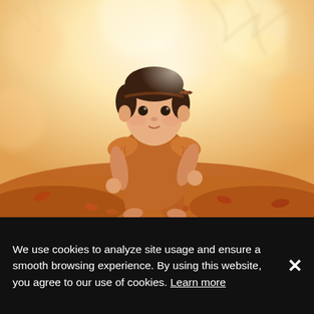[Figure (photo): A baby/toddler girl wearing a rust/burnt orange ruffled outfit and a small bow headband, sitting outdoors among autumn fallen leaves with a blurred warm bokeh background of trees and golden light.]
We use cookies to analyze site usage and ensure a smooth browsing experience. By using this website, you agree to our use of cookies. Learn more